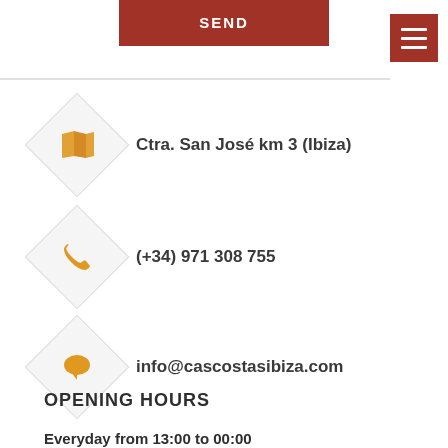SEND
Ctra. San José km 3 (Ibiza)
(+34) 971 308 755
info@cascostasibiza.com
OPENING HOURS
Everyday from 13:00 to 00:00